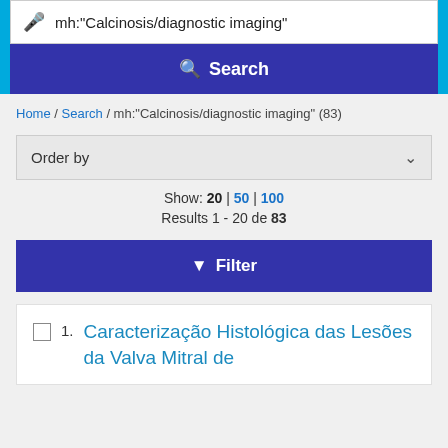[Figure (screenshot): Search interface showing a text input field with microphone icon containing the query mh:"Calcinosis/diagnostic imaging" and a blue Search button below it, on a cyan background]
Home / Search / mh:"Calcinosis/diagnostic imaging" (83)
Order by
Show: 20 | 50 | 100
Results 1 - 20 de 83
Filter
1. Caracterização Histológica das Lesões da Valva Mitral de